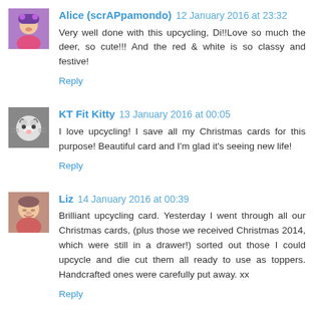Alice (scrAPpamondo) 12 January 2016 at 23:32
Very well done with this upcycling, Di!!Love so much the deer, so cute!!! And the red & white is so classy and festive!
Reply
KT Fit Kitty 13 January 2016 at 00:05
I love upcycling! I save all my Christmas cards for this purpose! Beautiful card and I'm glad it's seeing new life!
Reply
Liz 14 January 2016 at 00:39
Brilliant upcycling card. Yesterday I went through all our Christmas cards, (plus those we received Christmas 2014, which were still in a drawer!) sorted out those I could upcycle and die cut them all ready to use as toppers. Handcrafted ones were carefully put away. xx
Reply